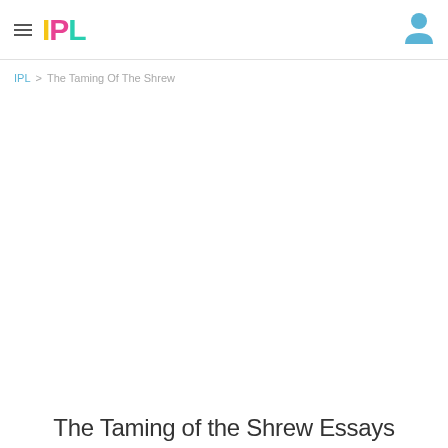IPL
IPL > The Taming Of The Shrew
The Taming of the Shrew Essays